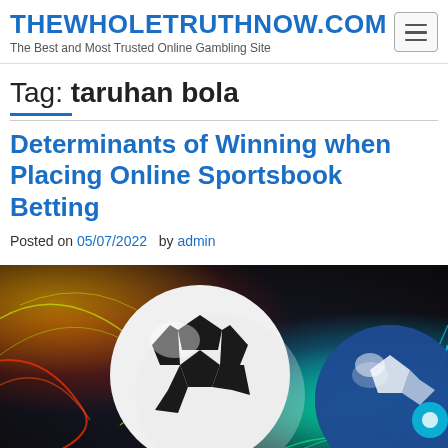THEWHOLETRUTHNOW.COM — The Best and Most Trusted Online Gambling Site
Tag: taruhan bola
Determinants of Winning when Placing Online Sportsbook Betting
Posted on 05/07/2022 by admin
[Figure (photo): A soccer ball on a colorful dynamic background with bright blue, green, red and yellow light streaks and swirls, with another soccer ball partially visible on the right side.]